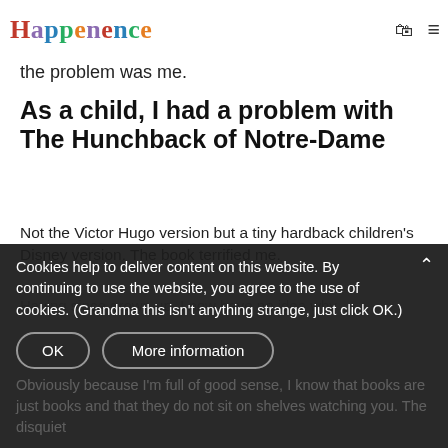Happenence
the problem was me.
As a child, I had a problem with The Hunchback of Notre-Dame
Not the Victor Hugo version but a tiny hardback children's Disney version. The book terrified me.
Having since grown up, I now have no idea why
Cookies help to deliver content on this website. By continuing to use the website, you agree to the use of cookies. (Grandma this isn't anything strange, just click OK.)
OK
More information
Obviously because I'm full of good sense, I know that books are just books and that they do not sit on shelves watching you. The disquiet